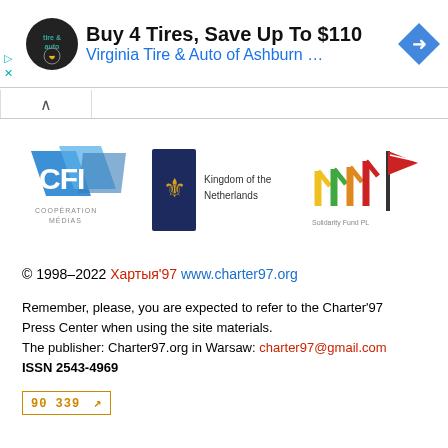[Figure (screenshot): Advertisement banner: Buy 4 Tires, Save Up To $110 - Virginia Tire & Auto of Ashburn ...]
[Figure (logo): Three sponsor logos: CFI Coopération Médias (blue), Kingdom of the Netherlands (dark blue with coat of arms), Solidarity Fund PL (colorful figures)]
© 1998–2022 Хартыя'97 www.charter97.org
Remember, please, you are expected to refer to the Charter'97 Press Center when using the site materials.
The publisher: Charter97.org in Warsaw: charter97@gmail.com
ISSN 2543-4969
[Figure (other): Counter widget box showing '90 339' with an arrow icon, outlined in orange/amber color]